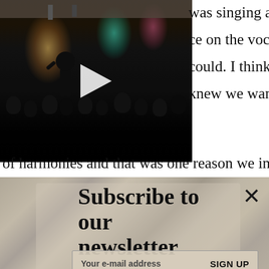[Figure (photo): Concert/live music video thumbnail showing audience and stage with pink/teal lighting, with a white play button triangle overlay]
was singing and I think we ce on the vocals and try to could. I think it’s some of the knew we wanted to have lots of harmonies and that was one reason we invited
[Figure (infographic): Newsletter subscription popup with beige/stone textured background, title 'Subscribe to our newsletter', email input field with 'Your e-mail address' placeholder and 'SIGN UP' button, with X close button]
[Figure (photo): Lower portion showing a musician in dark clothing holding a guitar/instrument, with wavy decorative line and close (X) button]
[Figure (infographic): Ad banner for Loyal showing business info: Ashburn, OPEN 10AM-6PM, 43330 Junction Plaza, Suite 176, Ashbu... with blue navigation arrow icon and X close button]